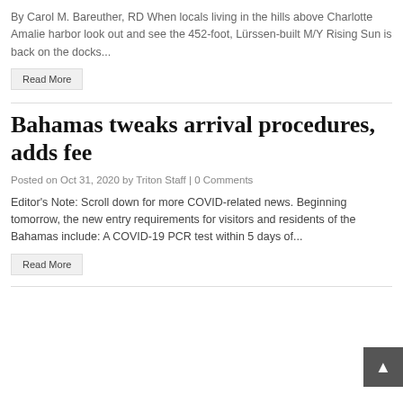By Carol M. Bareuther, RD When locals living in the hills above Charlotte Amalie harbor look out and see the 452-foot, Lürssen-built M/Y Rising Sun is back on the docks...
Read More
Bahamas tweaks arrival procedures, adds fee
Posted on Oct 31, 2020 by Triton Staff | 0 Comments
Editor's Note: Scroll down for more COVID-related news. Beginning tomorrow, the new entry requirements for visitors and residents of the Bahamas include: A COVID-19 PCR test within 5 days of...
Read More